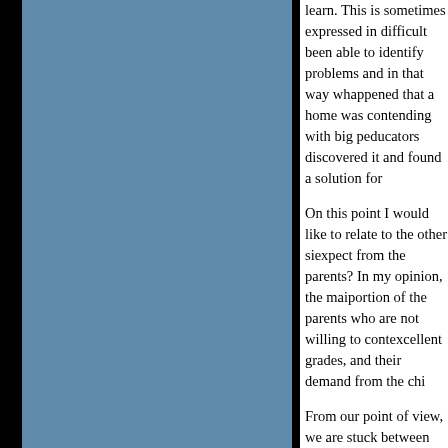learn. This is sometimes expressed in difficult be... been able to identify problems and in that way w... happened that a home was contending with big p... educators discovered it and found a solution for...
On this point I would like to relate to the other si... expect from the parents? In my opinion, the mai... portion of the parents who are not willing to cont... excellent grades, and their demand from the chi...
From our point of view, we are stuck between th... expectations, and in this circumstance the child i... to see the child in first place, and woe to you if y... hear from the parents: "Why? What happened?"
Rav Kook: Parents expect the cheder to help in... experienced in implementing the approach of "ea... It is clear to us that if a child will learn in cheder t... mitzvah, and he will be immunized from an educ... medical immunization — he will be a much healt... hard to ruin even if they treat him improperly in th...
As an educator with experience in this matter I c... My point is that we should bring up the current is... phones, and discuss them with the older student... explain.
My experience shows amazing success with thi... students and I see that to the extent we immuniz... expect that a yeshiva bochur who is suddenly ex...